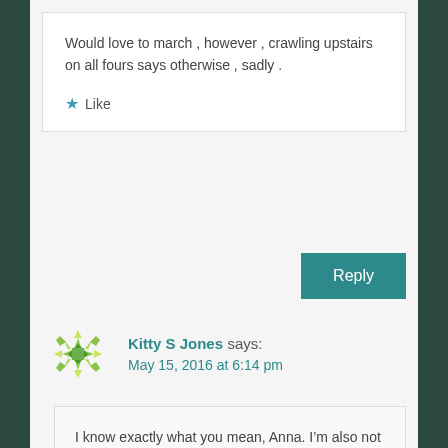Would love to march , however , crawling upstairs on all fours says otherwise , sadly .
Like
Reply
Kitty S Jones says:
May 15, 2016 at 6:14 pm
I know exactly what you mean, Anna. I'm also not well enough most of the time these days to get out on protests. But we both contribute to the fight for justice in our own way xxx